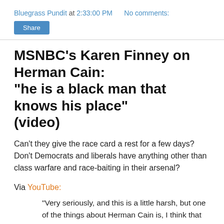Bluegrass Pundit at 2:33:00 PM    No comments:
Share
MSNBC's Karen Finney on Herman Cain: "he is a black man that knows his place" (video)
Can't they give the race card a rest for a few days? Don't Democrats and liberals have anything other than class warfare and race-baiting in their arsenal?
Via YouTube:
"Very seriously, and this is a little harsh, but one of the things about Herman Cain is, I think that he makes that white Republican base of the party feel OK, feel like they are not racist because they can like this guy and think he is giving...